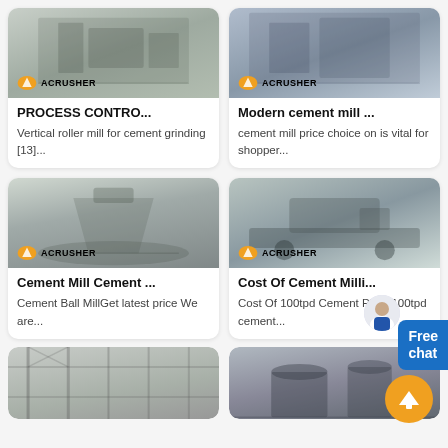[Figure (photo): Industrial cement grinding machine (vertical roller mill) in a factory setting, with ACRUSHER logo badge]
PROCESS CONTRO...
Vertical roller mill for cement grinding [13]...
[Figure (photo): Modern cement mill machinery in industrial factory, with ACRUSHER logo badge]
Modern cement mill ...
cement mill price choice on is vital for shopper...
[Figure (photo): Large cone crusher machine in factory warehouse, with ACRUSHER logo badge]
Cement Mill Cement ...
Cement Ball MillGet latest price We are...
[Figure (photo): Mobile crushing plant on truck in factory warehouse, with ACRUSHER logo badge]
Cost Of Cement Milli...
Cost Of 100tpd Cement Plant 100tpd cement...
[Figure (photo): Industrial building interior with steel structure framework]
[Figure (photo): Large industrial cylindrical tanks or silos]